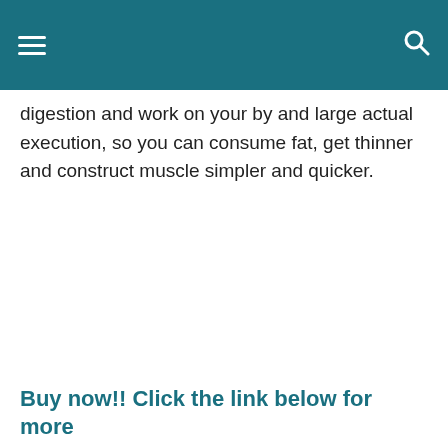digestion and work on your by and large actual execution, so you can consume fat, get thinner and construct muscle simpler and quicker.
Buy now!! Click the link below for more